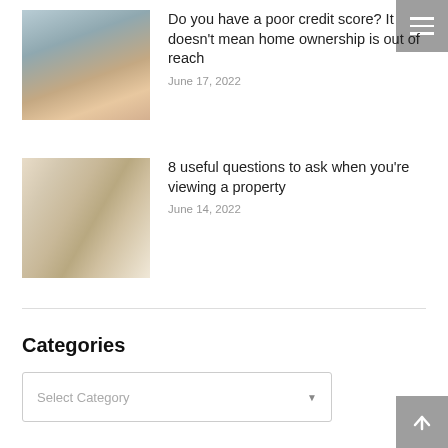[Figure (photo): Woman smiling holding house keys]
Do you have a poor credit score? It doesn't mean home ownership is out of reach
June 17, 2022
[Figure (photo): Two people walking through a hallway viewing a property]
8 useful questions to ask when you're viewing a property
June 14, 2022
Categories
Select Category